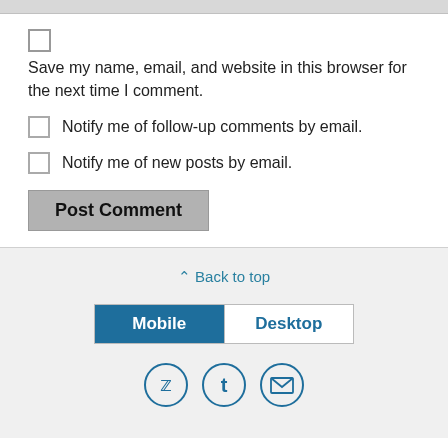Save my name, email, and website in this browser for the next time I comment.
Notify me of follow-up comments by email.
Notify me of new posts by email.
Post Comment
⌃ Back to top
[Figure (screenshot): Mobile/Desktop toggle button with Mobile selected (blue) and Desktop unselected]
[Figure (infographic): Three social icon circles: Twitter bird, Tumblr t, envelope/email]